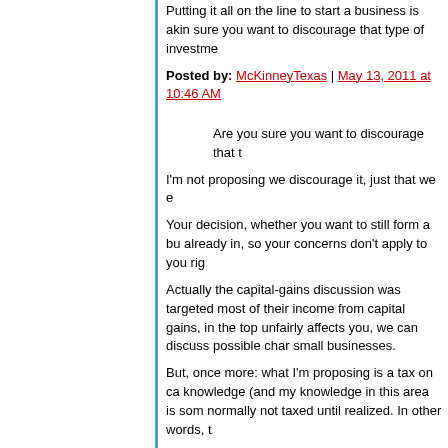Putting it all on the line to start a business is akin sure you want to discourage that type of investme
Posted by: McKinneyTexas | May 13, 2011 at 10:46 AM
Are you sure you want to discourage that t
I'm not proposing we discourage it, just that we e
Your decision, whether you want to still form a bu already in, so your concerns don't apply to you rig
Actually the capital-gains discussion was targeted most of their income from capital gains, in the top unfairly affects you, we can discuss possible char small businesses.
But, once more: what I'm proposing is a tax on ca knowledge (and my knowledge in this area is som normally not taxed until realized. In other words, t
Which is what it really is. You seem to want some special than others.
Posted by: Slartibartfast | May 13, 2011 at 10:51 AM